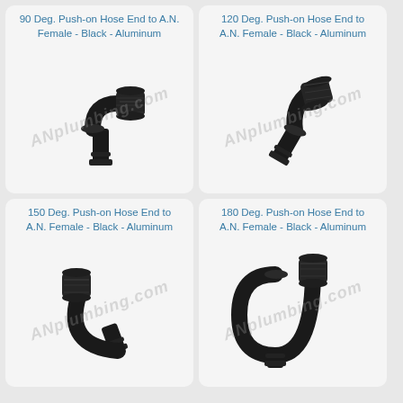[Figure (photo): 90 Deg. Push-on Hose End to A.N. Female fitting, Black Aluminum, angled product photo]
90 Deg. Push-on Hose End to A.N. Female - Black - Aluminum
[Figure (photo): 120 Deg. Push-on Hose End to A.N. Female fitting, Black Aluminum, angled product photo]
120 Deg. Push-on Hose End to A.N. Female - Black - Aluminum
[Figure (photo): 150 Deg. Push-on Hose End to A.N. Female fitting, Black Aluminum, angled product photo]
150 Deg. Push-on Hose End to A.N. Female - Black - Aluminum
[Figure (photo): 180 Deg. Push-on Hose End to A.N. Female fitting, Black Aluminum, angled product photo]
180 Deg. Push-on Hose End to A.N. Female - Black - Aluminum